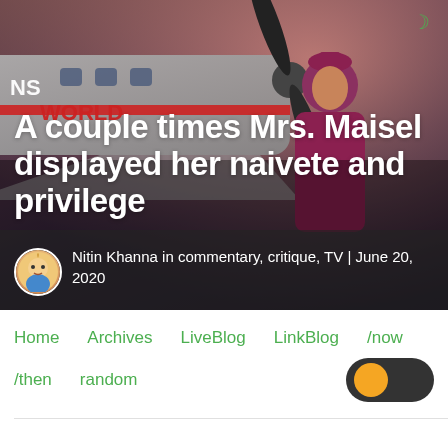[Figure (photo): Hero image of a woman in a red/magenta coat and hat standing near an airplane with 'NS WORLD' visible on the fuselage, against a dramatic pink/purple sky. Overlaid with article title and author metadata.]
A couple times Mrs. Maisel displayed her naivete and privilege
Nitin Khanna in commentary, critique, TV | June 20, 2020